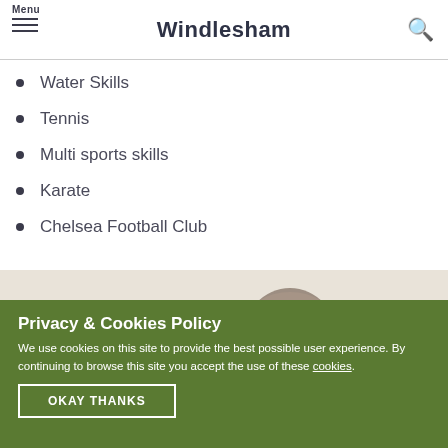Windlesham
Water Skills
Tennis
Multi sports skills
Karate
Chelsea Football Club
[Figure (photo): Group of children in a classroom setting, viewed from behind]
Privacy & Cookies Policy
We use cookies on this site to provide the best possible user experience. By continuing to browse this site you accept the use of these cookies.
OKAY THANKS